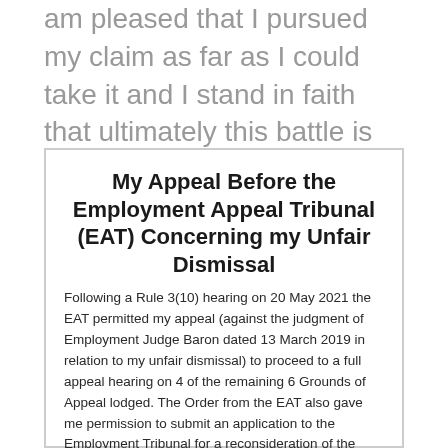am pleased that I pursued my claim as far as I could take it and I stand in faith that ultimately this battle is not mine.
My Appeal Before the Employment Appeal Tribunal (EAT) Concerning my Unfair Dismissal
Following a Rule 3(10) hearing on 20 May 2021 the EAT permitted my appeal (against the judgment of Employment Judge Baron dated 13 March 2019 in relation to my unfair dismissal) to proceed to a full appeal hearing on 4 of the remaining 6 Grounds of Appeal lodged. The Order from the EAT also gave me permission to submit an application to the Employment Tribunal for a reconsideration of the same judgment based on new evidence that came